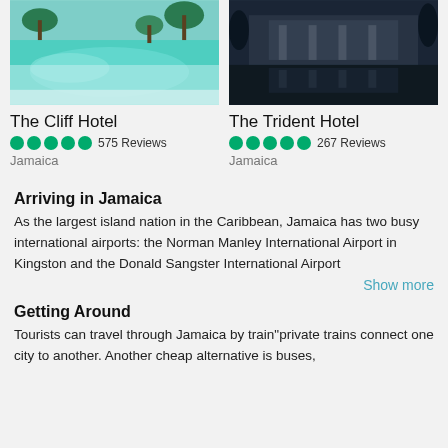[Figure (photo): Hotel pool photo - The Cliff Hotel, turquoise tropical pool with palm trees]
[Figure (photo): Hotel exterior photo - The Trident Hotel, dark reflective pool at night]
The Cliff Hotel
The Trident Hotel
●●●●● 575 Reviews
●●●●● 267 Reviews
Jamaica
Jamaica
Arriving in Jamaica
As the largest island nation in the Caribbean, Jamaica has two busy international airports: the Norman Manley International Airport in Kingston and the Donald Sangster International Airport
Show more
Getting Around
Tourists can travel through Jamaica by train"private trains connect one city to another. Another cheap alternative is buses,